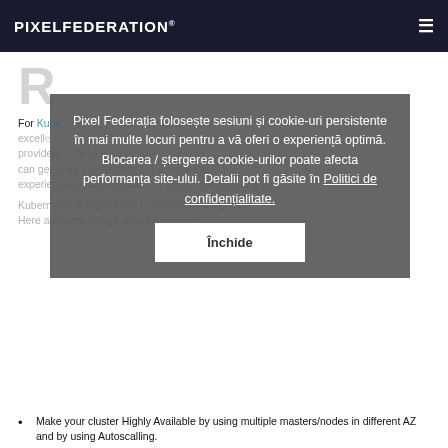PIXELFEDERATION
R
For Kubernetes you can use any cloud provider... from our own experience we use terraform... which has worked great.
Kubernetes is a great tool... almost anything there. Here are some things what we learned:
[Figure (other): Cookie consent overlay in Romanian: 'Pixel Federatia foloseste sesiuni si cookie-uri persistente in mai multe locuri pentru a va oferi o experienta optima. Blocarea / stergerea cookie-urilor poate afecta performanta site-ului. Detalii pot fi gasite in Politici de confidentialitate.' with an 'Inchide' button.]
Make your cluster Highly Available by using multiple masters/nodes in different AZ and by using Autoscalling.
For nodes make sure you have at least 2 nodes per AZ.
Don't run stateful services inside Kubernetes, it's best to run DB/Redis/ElasticCache outside as managed services.
Use ELK/EFK stack for logs gathering (it will make any troubleshooting easier).
Deploy Prometheus/Grafana for monitoring.
Use Kubernetes addons to extend its functionality:
External-DNS
Cluster-autoscaller